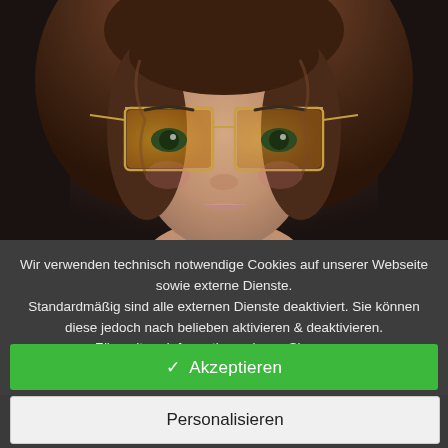[Figure (photo): Close-up photo of a young woman with green eyes wearing large square gold-framed glasses with amber-tinted lenses, wavy brunette hair, against a dark background.]
Wir verwenden technisch notwendige Cookies auf unserer Webseite sowie externe Dienste. Standardmäßig sind alle externen Dienste deaktiviert. Sie können diese jedoch nach belieben aktivieren & deaktivieren. Für weitere Informationen lesen Sie unsere Datenschutzbestimmungen.
✓ Akzeptieren
Personalisieren